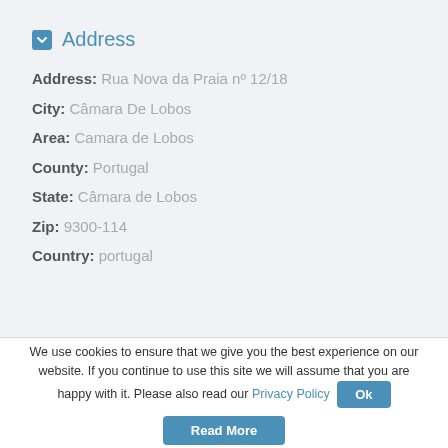Address
Address: Rua Nova da Praia nº 12/18
City: Câmara De Lobos
Area: Camara de Lobos
County: Portugal
State: Câmara de Lobos
Zip: 9300-114
Country: portugal
We use cookies to ensure that we give you the best experience on our website. If you continue to use this site we will assume that you are happy with it. Please also read our Privacy Policy Ok Read More